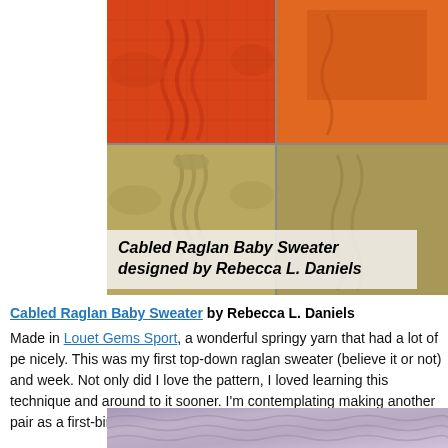[Figure (photo): Four-panel photo of knitted baby sweaters: two orange/red cable-knit sweaters on top row, two golden/yellow cable-knit sweaters on bottom row, laid flat on a grid background]
Cabled Raglan Baby Sweater
designed by Rebecca L. Daniels
Cabled Raglan Baby Sweater by Rebecca L. Daniels
Made in Louet Gems Sport, a wonderful springy yarn that had a lot of pe nicely. This was my first top-down raglan sweater (believe it or not) and week. Not only did I love the pattern, I loved learning this technique and around to it sooner. I'm contemplating making another pair as a first-birt
[Figure (photo): Partial view of a knitted item in blue/purple/grey variegated yarn]